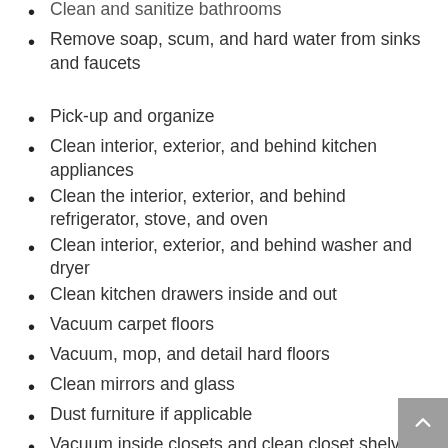Clean and sanitize bathrooms
Remove soap, scum, and hard water from sinks and faucets
Pick-up and organize
Clean interior, exterior, and behind kitchen appliances
Clean the interior, exterior, and behind refrigerator, stove, and oven
Clean interior, exterior, and behind washer and dryer
Clean kitchen drawers inside and out
Vacuum carpet floors
Vacuum, mop, and detail hard floors
Clean mirrors and glass
Dust furniture if applicable
Vacuum inside closets and clean closet shelves